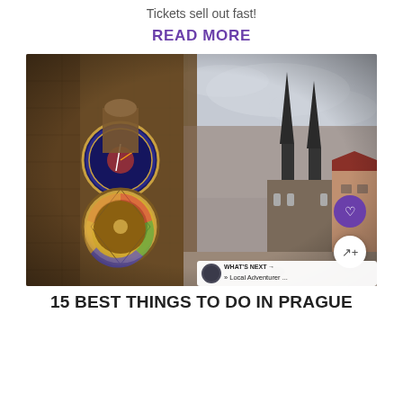Tickets sell out fast!
READ MORE
[Figure (photo): Prague Astronomical Clock (Orloj) on the Old Town Hall tower, with the Church of Our Lady before Týn visible in the background. Wide-angle photo showing the ornate clock face, stone architecture, and overcast sky. Overlay includes a purple heart button and a white share button. A 'WHAT'S NEXT' panel with a circular avatar is visible at bottom right.]
15 BEST THINGS TO DO IN PRAGUE